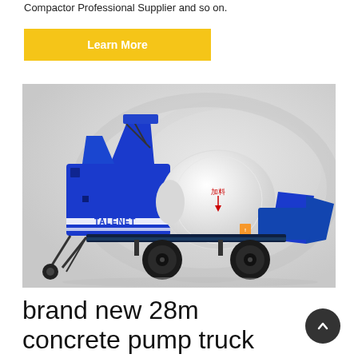Compactor Professional Supplier and so on.
Learn More
[Figure (photo): Blue TALENET brand concrete pump machine with white cylindrical mixer drum on a trailer with wheels, photographed against a light grey background.]
brand new 28m concrete pump truck with high efficiency and